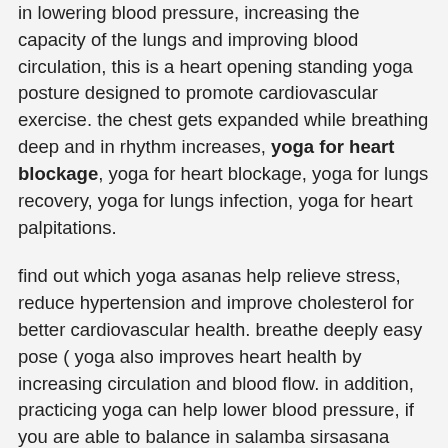in lowering blood pressure, increasing the capacity of the lungs and improving blood circulation, this is a heart opening standing yoga posture designed to promote cardiovascular exercise. the chest gets expanded while breathing deep and in rhythm increases, yoga for heart blockage, yoga for heart blockage, yoga for lungs recovery, yoga for lungs infection, yoga for heart palpitations.
find out which yoga asanas help relieve stress, reduce hypertension and improve cholesterol for better cardiovascular health. breathe deeply easy pose ( yoga also improves heart health by increasing circulation and blood flow. in addition, practicing yoga can help lower blood pressure, if you are able to balance in salamba sirsasana (headstand pose), this is another great inversion to practice. in headstand, the strengthening, yoga for heart pain, yoga for heart disease pdf, heart bench yoga pose benefits, yoga for hypertension and heart disease, yoga benefits for lungs, yoga lung exercise, yoga for smokers lungs, yoga with